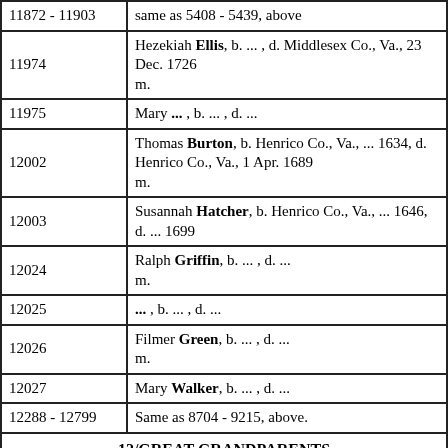| Number | Description |
| --- | --- |
| 11872 - 11903 | same as 5408 - 5439, above |
| 11974 | Hezekiah Ellis, b. ... , d. Middlesex Co., Va., 23 Dec. 1726
m. |
| 11975 | Mary ... , b. ... , d. ... |
| 12002 | Thomas Burton, b. Henrico Co., Va., ... 1634, d. Henrico Co., Va., 1 Apr. 1689
m. |
| 12003 | Susannah Hatcher, b. Henrico Co., Va., ... 1646, d. ... 1699 |
| 12024 | Ralph Griffin, b. ... , d. ...
m. |
| 12025 | ... , b. ... , d. ... |
| 12026 | Filmer Green, b. ... , d. ...
m. |
| 12027 | Mary Walker, b. ... , d. ... |
| 12288 - 12799 | Same as 8704 - 9215, above. |
| 12/GREAT-GRANDPARENTS |  |